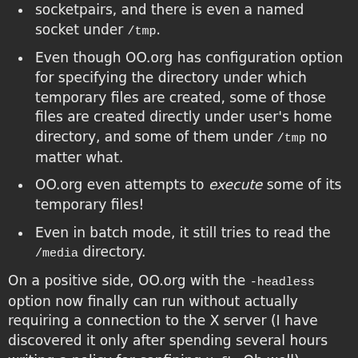socketpairs, and there is even a named socket under /tmp.
Even though OO.org has configuration option for specifying the directory under which temporary files are created, some of those files are created directly under user's home directory, and some of them under /tmp no matter what.
OO.org even attempts to execute some of its temporary files!
Even in batch mode, it still tries to read the /media directory.
On a positive side, OO.org with the -headless option now finally can run without actually requiring a connection to the X server (I have discovered it only after spending several hours writing a policy for confining Xvfb. Oh well).
I wonder how many security holes in OO.org are waiting to be discovered,